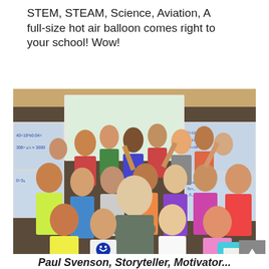STEM, STEAM, Science, Aviation, A full-size hot air balloon comes right to your school! Wow!
[Figure (photo): A man with arms crossed smiling in the center of a large group of excited elementary school children in a classroom. Whiteboards with math equations are visible in the background.]
Paul Svenson, Storyteller, Motivator...